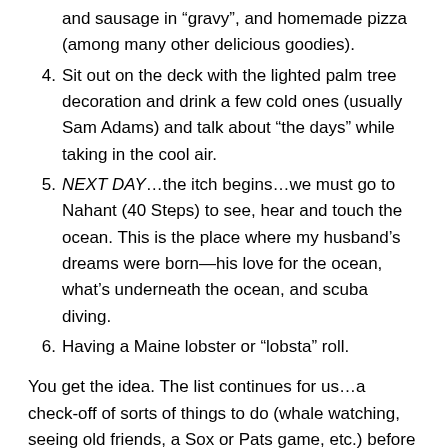and sausage in “gravy”, and homemade pizza (among many other delicious goodies).
4. Sit out on the deck with the lighted palm tree decoration and drink a few cold ones (usually Sam Adams) and talk about “the days” while taking in the cool air.
5. NEXT DAY…the itch begins…we must go to Nahant (40 Steps) to see, hear and touch the ocean. This is the place where my husband’s dreams were born—his love for the ocean, what’s underneath the ocean, and scuba diving.
6. Having a Maine lobster or “lobsta” roll.
You get the idea. The list continues for us…a check-off of sorts of things to do (whale watching, seeing old friends, a Sox or Pats game, etc.) before we head back home. This